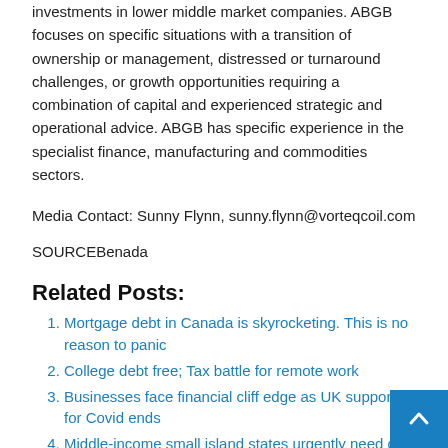investments in lower middle market companies. ABGB focuses on specific situations with a transition of ownership or management, distressed or turnaround challenges, or growth opportunities requiring a combination of capital and experienced strategic and operational advice. ABGB has specific experience in the specialist finance, manufacturing and commodities sectors.
Media Contact: Sunny Flynn, sunny.flynn@vorteqcoil.com
SOURCEBenada
Related Posts:
Mortgage debt in Canada is skyrocketing. This is no reason to panic
College debt free; Tax battle for remote work
Businesses face financial cliff edge as UK support for Covid ends
Middle-income small island states urgently need debt relief, Secretary-General says in address to G20 finance